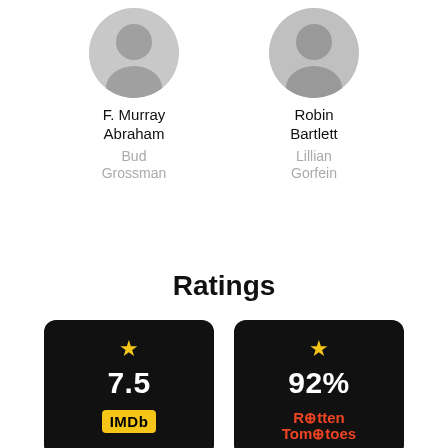F. Murray Abraham
Bud Grossman
Robin Bartlett
Lillian Gorfein
Ratings
[Figure (infographic): IMDb rating card showing 7.5 with star icon on black background]
[Figure (infographic): Rotten Tomatoes rating card showing 92% with star icon and Rotten Tomatoes logo on black background]